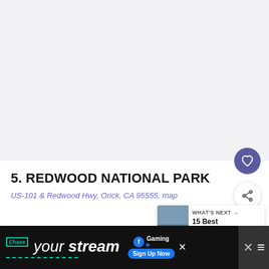[Figure (photo): Light gray placeholder image area for Redwood National Park photo]
5. REDWOOD NATIONAL PARK
US-101 & Redwood Hwy, Orick, CA 95555, map
[Figure (photo): Thumbnail image for 'What's Next' card showing a national park scene]
WHAT'S NEXT → 15 Best National Par...
This park is famous for its massively tall trees, the
[Figure (screenshot): Advertisement banner: Chase your stream - Facebook Gaming Sign Up Now]